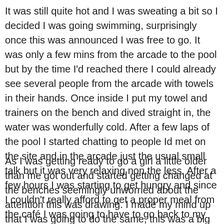It was still quite hot and I was sweating a bit so I decided I was going swimming, surprisingly once this was announced I was free to go. It was only a few mins from the arcade to the pool but by the time I'd reached there I could already see several people from the arcade with towels in their hands. Once inside I put my towel and trainers on the bench and dived straight in, the water was wonderfully cold. After a few laps of the pool I started chatting to people Id met on the site and in the arcade just the usual small talk but it was very relaxing non the less. After a few hours I was starting to get hungry and since I couldn't really afford to get a proper meal from the café I was going to have to go back to my tent.
As I was getting ready to go a girl a little older than me got out and started getting changed at the benches seemingly unworried about the attention this was drawing. I made my mind up that I was going to do the same, this was a big step for me to say the least, I had done this sort of thing when no-one